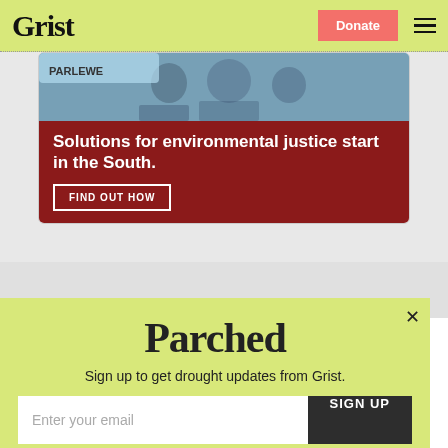Grist | Donate | Menu
[Figure (illustration): Advertisement banner with photo of people and dark red background. Text reads: 'Solutions for environmental justice start in the South.' with a 'FIND OUT HOW' button.]
[Figure (infographic): Popup newsletter signup box with light yellow-green background. Title 'Parched' in large serif font. Subtext: 'Sign up to get drought updates from Grist.' Email input field with 'SIGN UP' button. 'No thanks' link at bottom.]